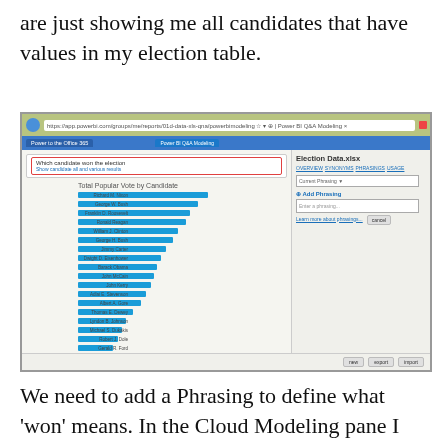are just showing me all candidates that have values in my election table.
[Figure (screenshot): Screenshot of Power BI Q&A Modeling interface showing a horizontal bar chart titled 'Total Popular Vote by Candidate' with candidates listed, and a sidebar showing Election Data.xlsx with Add Phrasing panel open.]
We need to add a Phrasing to define what ‘won’ means. In the Cloud Modeling pane I click Add Phrasing and type “Candidates win elections” then click OK. This helps and defines the